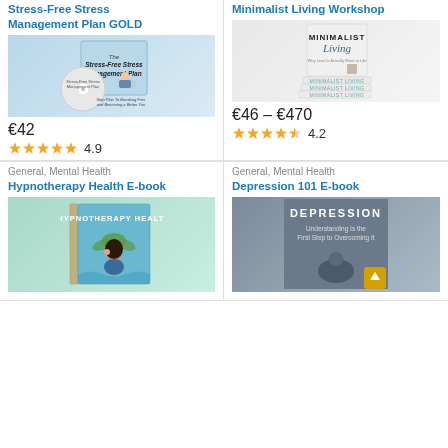Stress-Free Stress Management Plan GOLD
[Figure (photo): Product image: The Stress-Free Stress Management Plan book and CD]
€42
4.9
Minimalist Living Workshop
[Figure (photo): Product image: Minimalist Living books stacked]
€46 – €470
4.2
General, Mental Health
Hypnotherapy Health E-book
[Figure (photo): Product image: Hypnotherapy Health e-book cover]
General, Mental Health
Depression 101 E-book
[Figure (photo): Product image: Depression 101 e-book cover — Understanding Is the First Step to Overcoming It]